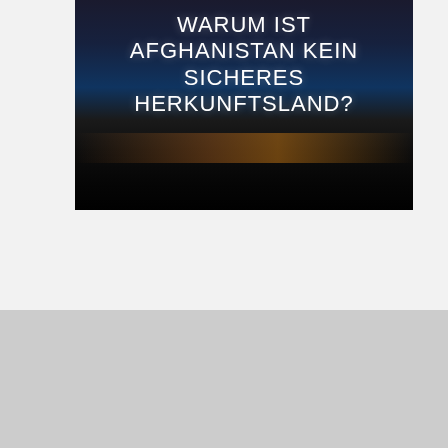[Figure (photo): Dark image with white text overlay reading 'WARUM IST AFGHANISTAN KEIN SICHERES HERKUNFTSLAND?' (Why is Afghanistan not a safe country of origin?) against a dark night sky/landscape background with a faint warm horizon glow]